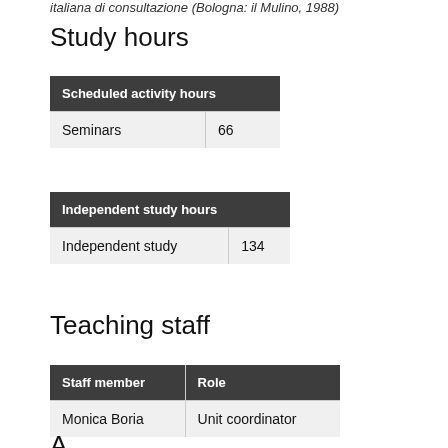italiana di consultazione (Bologna: il Mulino, 1988)
Study hours
| Scheduled activity hours |  |
| --- | --- |
| Seminars | 66 |
| Independent study hours |  |
| --- | --- |
| Independent study | 134 |
Teaching staff
| Staff member | Role |
| --- | --- |
| Monica Boria | Unit coordinator |
Admin